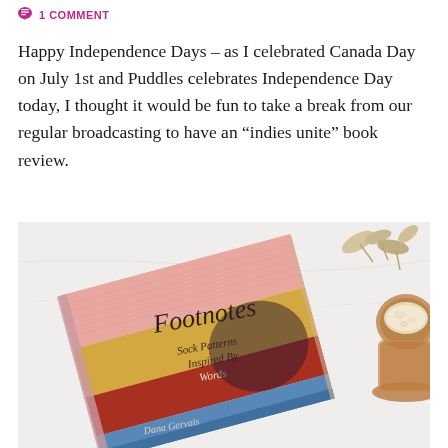1 COMMENT
Happy Independence Days – as I celebrated Canada Day on July 1st and Puddles celebrates Independence Day today, I thought it would be fun to take a break from our regular broadcasting to have an “indies unite” book review.
[Figure (photo): A book titled 'Footnotes: Sock Patterns Inspired By Words' by Dana Gervais, lying on a white surface next to a wooden bowl with a frothy drink and dried flowers. The book cover shows colorful knitted sock fabric in pink, yellow, red, and blue hues.]